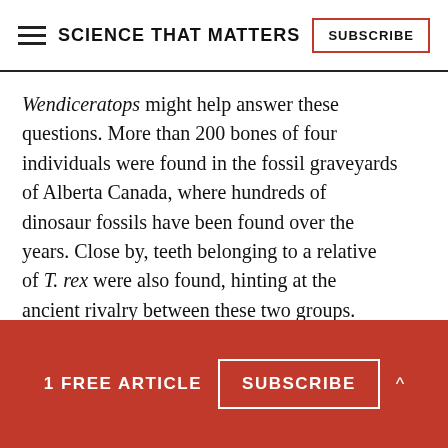SCIENCE THAT MATTERS | SUBSCRIBE
Wendiceratops might help answer these questions. More than 200 bones of four individuals were found in the fossil graveyards of Alberta Canada, where hundreds of dinosaur fossils have been found over the years. Close by, teeth belonging to a relative of T. rex were also found, hinting at the ancient rivalry between these two groups.
1 FREE ARTICLE  SUBSCRIBE